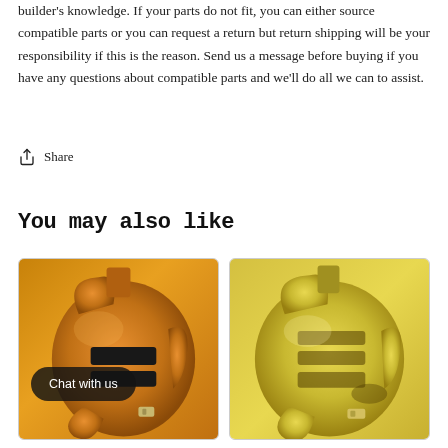builder's knowledge. If your parts do not fit, you can either source compatible parts or you can request a return but return shipping will be your responsibility if this is the reason. Send us a message before buying if you have any questions about compatible parts and we'll do all we can to assist.
Share
You may also like
[Figure (photo): Guitar body in orange/gold metallic finish, shown from the back, with a black oval chat bubble overlay reading 'Chat with us']
[Figure (photo): Guitar body in yellow/gold metallic finish, shown from the front with pickup routing cavities visible]